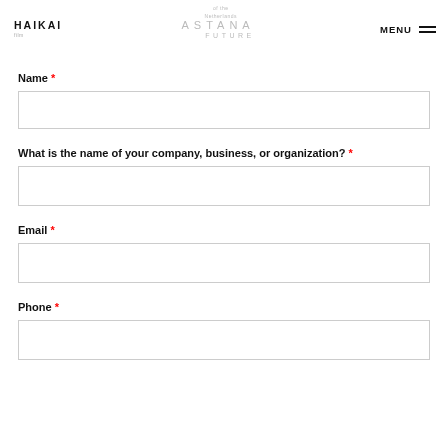HAIKAI | of the Netherlands | ASTANA FUTURE | MENU
Name *
What is the name of your company, business, or organization? *
Email *
Phone *